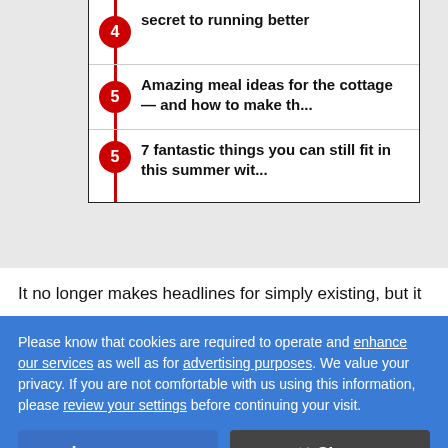secret to running better
Amazing meal ideas for the cottage — and how to make th...
7 fantastic things you can still fit in this summer wit...
It no longer makes headlines for simply existing, but it hops between hosts so quickly that, here in Ontario, we've literally lost count. The province auditor is daily data updates because the loss has disappeared, but others still review your data findings and...
Please know that cookies are required to operate and enhance our services as well as for advertising purposes. We value your privacy. If you are not comfortable with us using this information, please review your settings before continuing your visit.
COVID-19 moves so fast it chased down Canada's